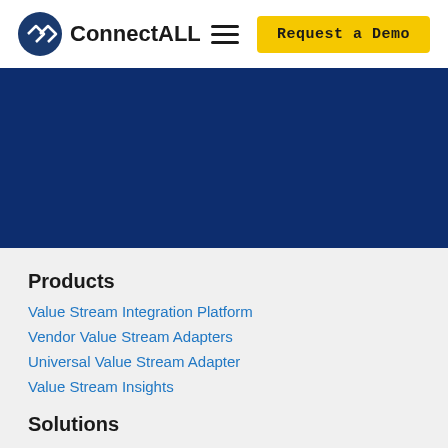ConnectALL | Request a Demo
Explore the integrations, check out the features, or get in touch
Explore ConnectALL | Contact Us
Products
Value Stream Integration Platform
Vendor Value Stream Adapters
Universal Value Stream Adapter
Value Stream Insights
Solutions
Value Stream Management Solution
Value Stream for Analytics
Value Stream for Business Applications